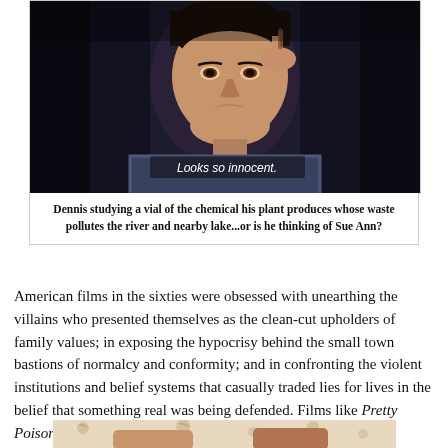[Figure (photo): A man (Dennis) studying a small vial of chemical, looking at it closely with a slight smile. Subtitle text on image reads 'Looks so innocent.']
Dennis studying a vial of the chemical his plant produces whose waste pollutes the river and nearby lake...or is he thinking of Sue Ann?
American films in the sixties were obsessed with unearthing the villains who presented themselves as the clean-cut upholders of family values; in exposing the hypocrisy behind the small town bastions of normalcy and conformity; and in confronting the violent institutions and belief systems that casually traded lies for lives in the belief that something real was being defended. Films like Pretty Poison—films that sought to explore the enemy within—asked audiences to take a good look at what America had become.
[Figure (photo): Bottom portion of a photo showing two people, partially visible, against a floral wallpaper background.]